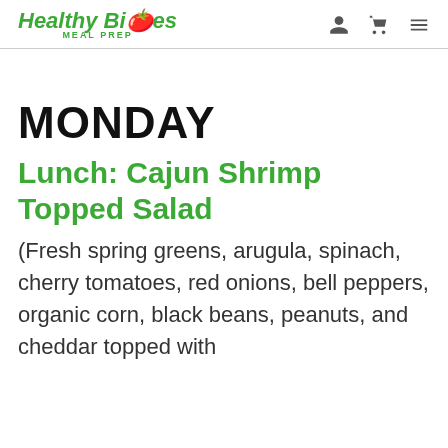Healthy Bites MEAL PREP
MONDAY
Lunch: Cajun Shrimp Topped Salad
(Fresh spring greens, arugula, spinach, cherry tomatoes, red onions, bell peppers, organic corn, black beans, peanuts, and cheddar topped with